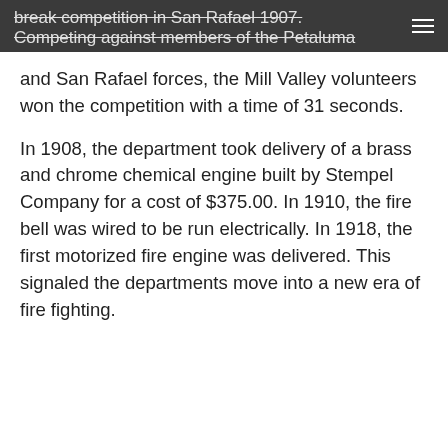break competition in San Rafael 1907. Competing against members of the Petaluma [menu icon]
and San Rafael forces, the Mill Valley volunteers won the competition with a time of 31 seconds.
In 1908, the department took delivery of a brass and chrome chemical engine built by Stempel Company for a cost of $375.00. In 1910, the fire bell was wired to be run electrically. In 1918, the first motorized fire engine was delivered. This signaled the departments move into a new era of fire fighting.